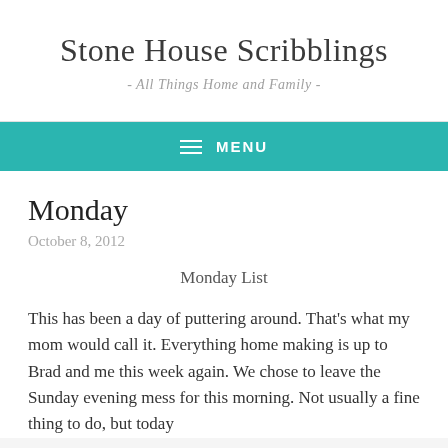Stone House Scribblings
- All Things Home and Family -
MENU
Monday
October 8, 2012
Monday List
This has been a day of puttering around. That's what my mom would call it. Everything home making is up to Brad and me this week again. We chose to leave the Sunday evening mess for this morning. Not usually a fine thing to do, but today